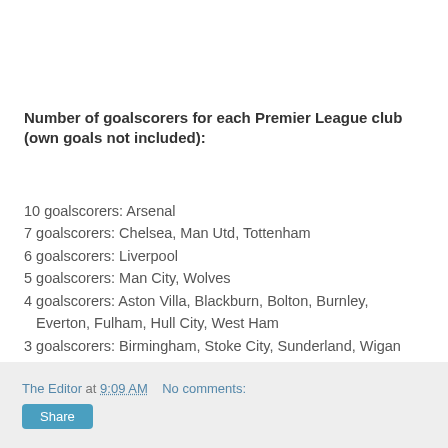Number of goalscorers for each Premier League club (own goals not included):
10 goalscorers: Arsenal
7 goalscorers: Chelsea, Man Utd, Tottenham
6 goalscorers: Liverpool
5 goalscorers: Man City, Wolves
4 goalscorers: Aston Villa, Blackburn, Bolton, Burnley, Everton, Fulham, Hull City, West Ham
3 goalscorers: Birmingham, Stoke City, Sunderland, Wigan
2 goalscorers: Portsmouth
The Editor at 9:09 AM   No comments:   Share